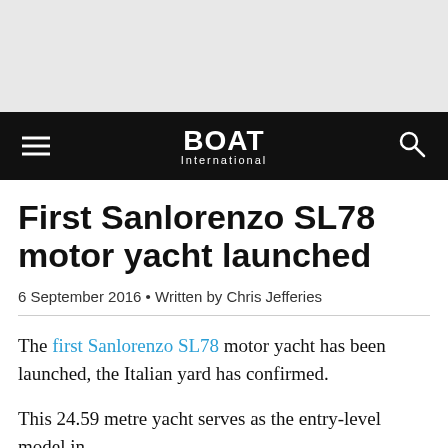[Figure (screenshot): Gray placeholder area at top of page]
BOAT International
First Sanlorenzo SL78 motor yacht launched
6 September 2016 • Written by Chris Jefferies
The first Sanlorenzo SL78 motor yacht has been launched, the Italian yard has confirmed.
This 24.59 metre yacht serves as the entry-level model in